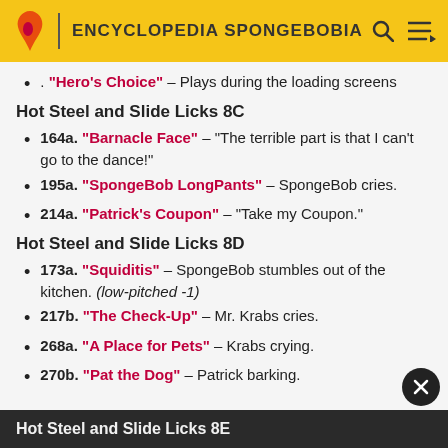ENCYCLOPEDIA SPONGEBOBIA
. "Hero's Choice" – Plays during the loading screens
Hot Steel and Slide Licks 8C
164a. "Barnacle Face" – "The terrible part is that I can't go to the dance!"
195a. "SpongeBob LongPants" – SpongeBob cries.
214a. "Patrick's Coupon" – "Take my Coupon."
Hot Steel and Slide Licks 8D
173a. "Squiditis" – SpongeBob stumbles out of the kitchen. (low-pitched -1)
217b. "The Check-Up" – Mr. Krabs cries.
268a. "A Place for Pets" – Krabs crying.
270b. "Pat the Dog" – Patrick barking.
Hot Steel and Slide Licks 8E